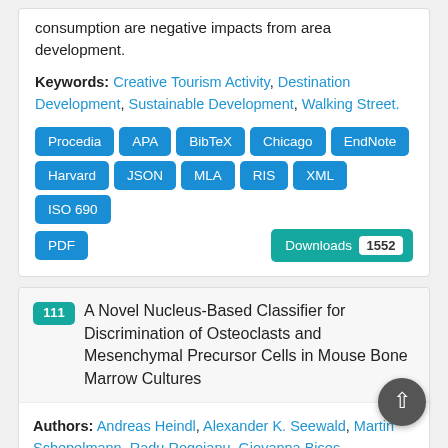consumption are negative impacts from area development.
Keywords: Creative Tourism Activity, Destination Development, Sustainable Development, Walking Street.
[Figure (other): Citation format buttons: Procedia, APA, BibTeX, Chicago, EndNote, Harvard, JSON, MLA, RIS, XML, ISO 690, PDF. Downloads badge showing 1552.]
111 A Novel Nucleus-Based Classifier for Discrimination of Osteoclasts and Mesenchymal Precursor Cells in Mouse Bone Marrow Cultures
Authors: Andreas Heindl, Alexander K. Seewald, Martin Schepelmann, Radu Rogojanu, Giovanna Bises,